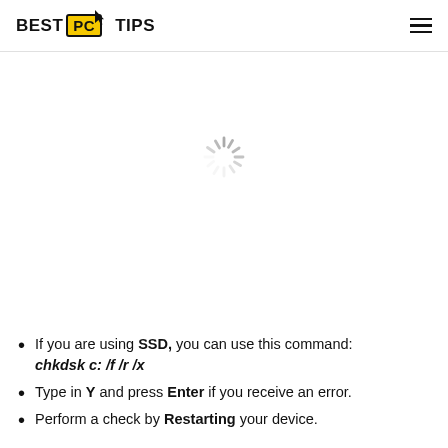BEST PC TIPS
[Figure (other): Loading spinner icon (circular spinner graphic) centered in whitespace area]
If you are using SSD, you can use this command: chkdsk c: /f /r /x
Type in Y and press Enter if you receive an error.
Perform a check by Restarting your device.